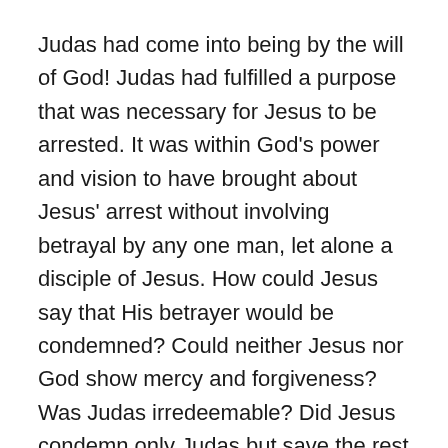Judas had come into being by the will of God! Judas had fulfilled a purpose that was necessary for Jesus to be arrested. It was within God's power and vision to have brought about Jesus' arrest without involving betrayal by any one man, let alone a disciple of Jesus. How could Jesus say that His betrayer would be condemned? Could neither Jesus nor God show mercy and forgiveness? Was Judas irredeemable? Did Jesus condemn only Judas but save the rest of mankind? This would be indicative of a vengeful person or being.
I am not trying to assert that the bible is useless, but I think we need to exercise our own abilities to discern the parts that really give us a glimpse of